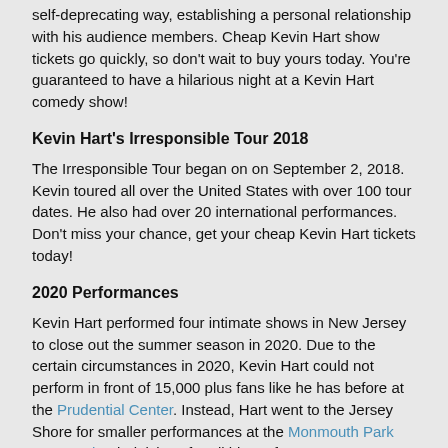self-deprecating way, establishing a personal relationship with his audience members. Cheap Kevin Hart show tickets go quickly, so don't wait to buy yours today. You're guaranteed to have a hilarious night at a Kevin Hart comedy show!
Kevin Hart's Irresponsible Tour 2018
The Irresponsible Tour began on on September 2, 2018. Kevin toured all over the United States with over 100 tour dates. He also had over 20 international performances. Don't miss your chance, get your cheap Kevin Hart tickets today!
2020 Performances
Kevin Hart performed four intimate shows in New Jersey to close out the summer season in 2020. Due to the certain circumstances in 2020, Kevin Hart could not perform in front of 15,000 plus fans like he has before at the Prudential Center. Instead, Hart went to the Jersey Shore for smaller performances at the Monmouth Park Racetrack. Find tickets for all his performances on CheapTickets and do not miss out to see this comedic genius live.
Kevin Hart Summer 2022 Tour
The comedian and actor headed back to the stand-up scene in early 2022. There were originally only limited shows for fans to